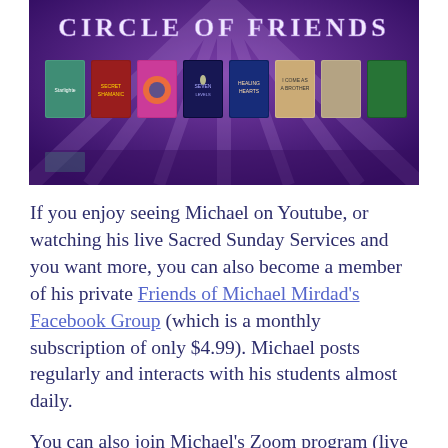[Figure (illustration): Banner image reading 'CIRCLE OF FRIENDS' on a purple background with a row of book covers displayed along the bottom]
If you enjoy seeing Michael on Youtube, or watching his live Sacred Sunday Services and you want more, you can also become a member of his private Friends of Michael Mirdad's Facebook Group (which is a monthly subscription of only $4.99). Michael posts regularly and interacts with his students almost daily.
You can also join Michael's Zoom program (live every Monday at 11:00am, Arizona